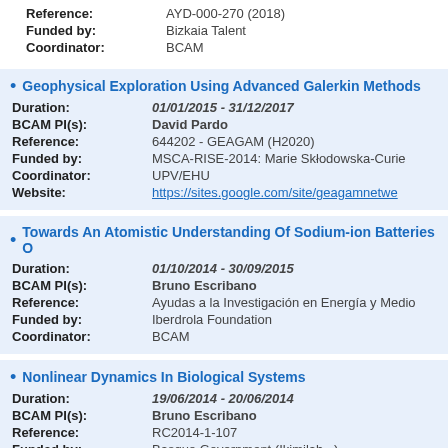Reference: AYD-000-270 (2018)
Funded by: Bizkaia Talent
Coordinator: BCAM
Geophysical Exploration Using Advanced Galerkin Methods
Duration: 01/01/2015 - 31/12/2017
BCAM PI(s): David Pardo
Reference: 644202 - GEAGAM (H2020)
Funded by: MSCA-RISE-2014: Marie Skłodowska-Curie
Coordinator: UPV/EHU
Website: https://sites.google.com/site/geagamnetwe
Towards An Atomistic Understanding Of Sodium-ion Batteries O
Duration: 01/10/2014 - 30/09/2015
BCAM PI(s): Bruno Escribano
Reference: Ayudas a la Investigación en Energía y Medio
Funded by: Iberdrola Foundation
Coordinator: BCAM
Nonlinear Dynamics In Biological Systems
Duration: 19/06/2014 - 20/06/2014
BCAM PI(s): Bruno Escribano
Reference: RC2014-1-107
Funded by: Basque Government (Ikimilab...)